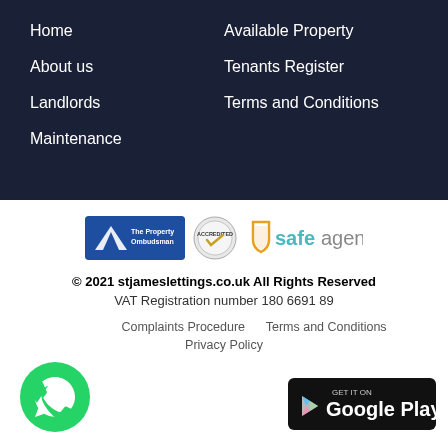Home
About us
Landlords
Maintenance
Available Property
Tenants Register
Terms and Conditions
[Figure (logo): The Property Ombudsman logo, accreditation badge, and safeagent logo]
© 2021 stjameslettings.co.uk All Rights Reserved
VAT Registration number 180 6691 89
Complaints Procedure    Terms and Conditions
Privacy Policy
[Figure (logo): WhatsApp icon - green circle with phone handset]
[Figure (logo): Get it on Google Play button]